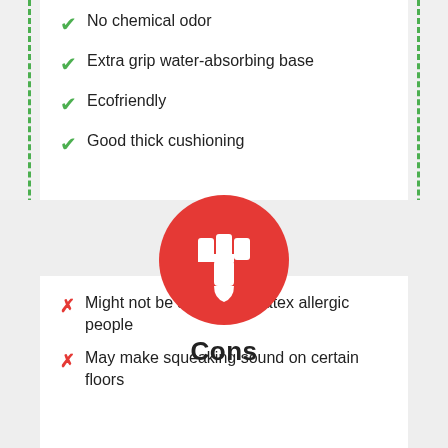No chemical odor
Extra grip water-absorbing base
Ecofriendly
Good thick cushioning
[Figure (illustration): Red circle with white thumbs-down icon representing Cons section]
Cons
Might not be suitable for latex allergic people
May make squeaking sound on certain floors